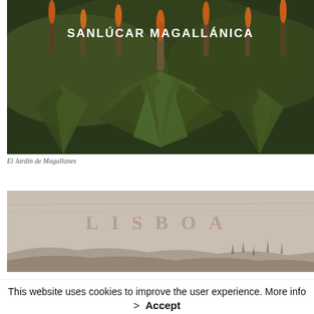[Figure (photo): Photograph of a lush garden with tall aloe-like plants with orange flower spikes and dense green foliage, with overlaid title text 'SANLÚCAR MAGALLÁNICA']
El Jardín de Magallanes
[Figure (photo): Faded, muted photograph of what appears to be a historical map or document with text 'LISBOA' faintly visible]
This website uses cookies to improve the user experience. More info
> Accept